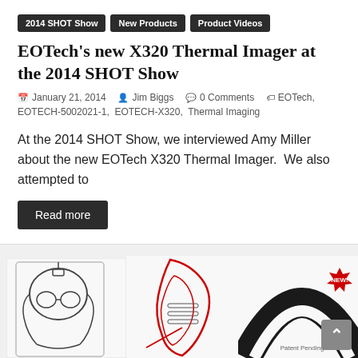2014 SHOT Show
New Products
Product Videos
EOTech's new X320 Thermal Imager at the 2014 SHOT Show
January 21, 2014   Jim Biggs   0 Comments   EOTech, EOTECH-5002021-1, EOTECH-X320, Thermal Imaging
At the 2014 SHOT Show, we interviewed Amy Miller about the new EOTech X320 Thermal Imager.  We also attempted to
Read more
[Figure (illustration): Three product images at the bottom: a technical line drawing of a helmet/goggle device on the left, a red and black tool or device in the center, and a curved black strap with a red 'NEW!' burst and 'Patent Pending' text on the right. A scroll-to-top arrow button is visible in the bottom right corner.]